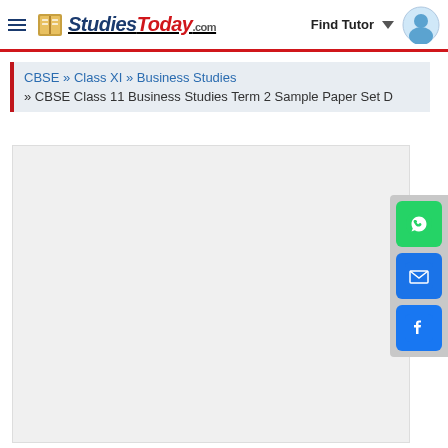StudiesToday.com | Find Tutor
CBSE » Class XI » Business Studies » CBSE Class 11 Business Studies Term 2 Sample Paper Set D
[Figure (screenshot): Large empty content/document preview area with light gray background]
[Figure (infographic): Social sharing sidebar with WhatsApp, Email, and Facebook buttons]